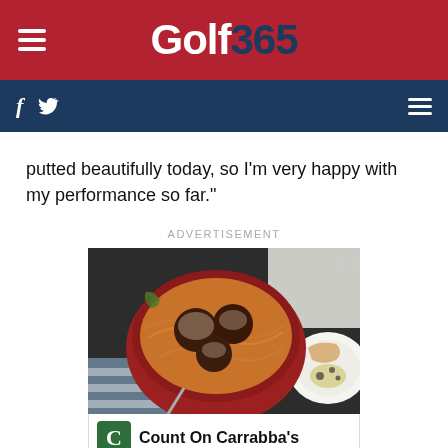Golf 365
putted beautifully today, so I'm very happy with my performance so far."
ADVERTISEMENT
[Figure (photo): Advertisement photo showing a bowl of spaghetti and meatballs with Carrabba's Italian Grill branding below]
Count On Carrabba's
Carrabba's Italian Grill - Airport